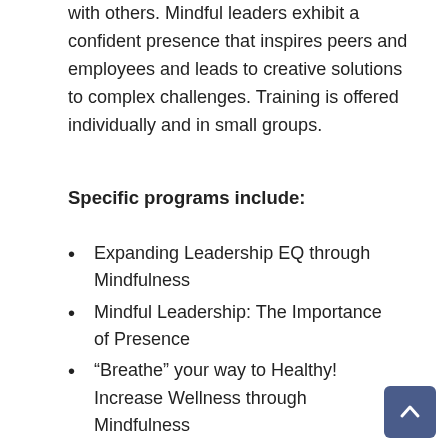with others. Mindful leaders exhibit a confident presence that inspires peers and employees and leads to creative solutions to complex challenges. Training is offered individually and in small groups.
Specific programs include:
Expanding Leadership EQ through Mindfulness
Mindful Leadership: The Importance of Presence
“Breathe” your way to Healthy! Increase Wellness through Mindfulness
Beyond Work-Life Balance to Resilience
How to Manage Multiple Priorities and Stay Organized